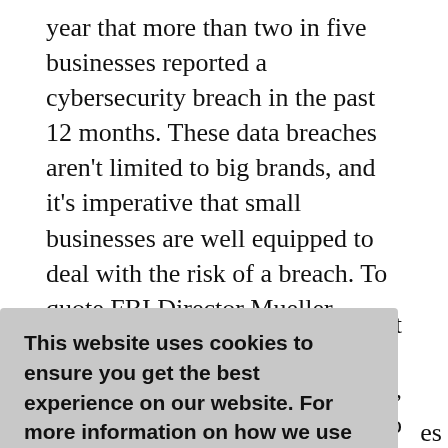year that more than two in five businesses reported a cybersecurity breach in the past 12 months. These data breaches aren't limited to big brands, and it's imperative that small businesses are well equipped to deal with the risk of a breach. To quote FBI Director Mueller, "There are only two types of companies:
[Figure (screenshot): Cookie consent banner overlay with text 'This website uses cookies to ensure you get the best experience on our website. For more information on how we use cookies on this website and on how to disable them,' a 'Learn more' link, and a green 'Got it!' button.]
which at the very best prevent a breach, and